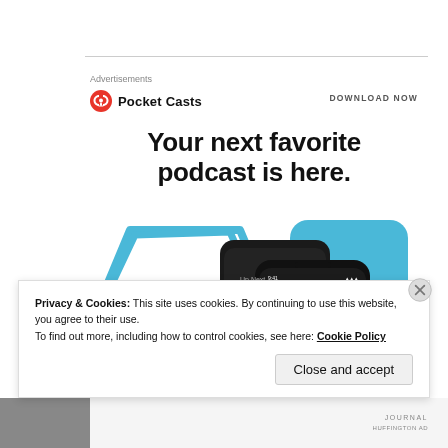Advertisements
[Figure (logo): Pocket Casts logo: red circle with headphone icon and text 'Pocket Casts']
DOWNLOAD NOW
Your next favorite podcast is here.
[Figure (screenshot): Pocket Casts app screenshot showing two smartphones with 'Up Next' podcast queue interface, with blue play button icon and blue rounded rectangle background element]
Privacy & Cookies: This site uses cookies. By continuing to use this website, you agree to their use.
To find out more, including how to control cookies, see here: Cookie Policy
Close and accept
JOURNAL